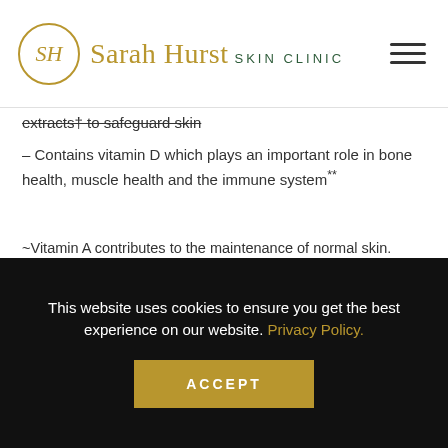Sarah Hurst SKIN CLINIC
extracts† to safeguard skin
– Contains vitamin D which plays an important role in bone health, muscle health and the immune system**
~Vitamin A contributes to the maintenance of normal skin. Vitamin A has a role in the process of cell specialization **Vitamin D contributes to the maintenance of normal bones. Vitamin D contributes to the maintenance of normal muscle function.Vitamin D contributes to the normal function of the immune system
DIRECTIONS
This website uses cookies to ensure you get the best experience on our website. Privacy Policy.
ACCEPT